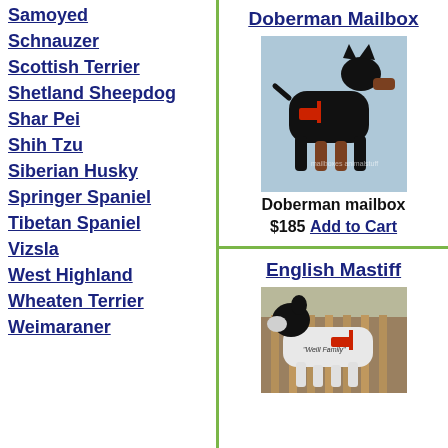Samoyed
Schnauzer
Scottish Terrier
Shetland Sheepdog
Shar Pei
Shih Tzu
Siberian Husky
Springer Spaniel
Tibetan Spaniel
Vizsla
West Highland
Wheaten Terrier
Weimaraner
Doberman Mailbox
[Figure (photo): A black Doberman dog-shaped mailbox with brown legs and snout, red mailbox flag, standing on a surface]
Doberman mailbox
$185 Add to Cart
English Mastiff
[Figure (photo): A white English Mastiff dog-shaped mailbox with black head, red mailbox flag, with 'Weill Family' text on it, in front of a wooden fence]